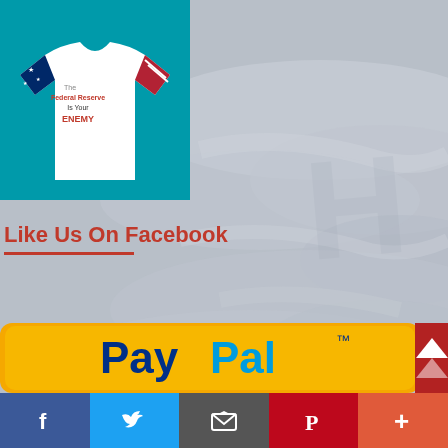[Figure (photo): White t-shirt with American flag sleeves and text 'The Federal Reserve Is Your ENEMY' on teal/turquoise background, top-left quadrant]
[Figure (photo): Cloudy sky background covering the right half and lower portion of the page]
Like Us On Facebook
Your Support Helps Us Stay Online 🕯
[Figure (logo): PayPal logo banner with yellow/gold rounded rectangle background, dark blue PayPal wordmark with TM symbol, and red folded corner element on right]
[Figure (infographic): Social media share bar at bottom: Facebook (blue, f icon), Twitter (light blue, bird icon), Email (dark gray, envelope icon), Pinterest (red, P icon), More (orange-red, plus icon)]